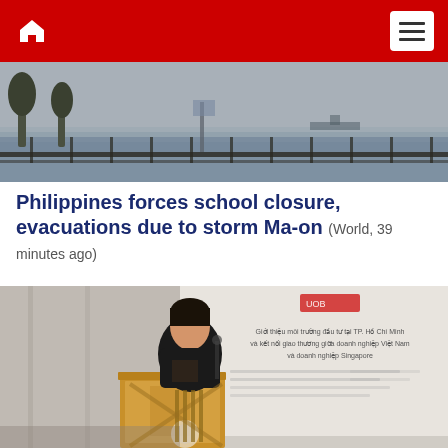Navigation bar with home icon and menu button
[Figure (photo): Storm scene photo showing rough sea/water with trees and fencing visible, grey overcast sky]
Philippines forces school closure, evacuations due to storm Ma-on (World, 39 minutes ago)
[Figure (photo): Photo of a woman in a black blazer speaking at a wooden podium in front of a projected presentation slide with UOB logo and Vietnamese text]